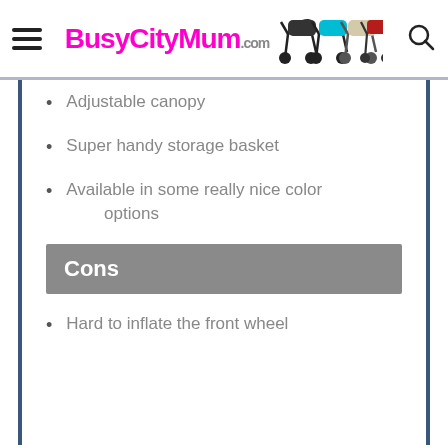BusyCityMum.com
Adjustable canopy
Super handy storage basket
Available in some really nice color options
Cons
Hard to inflate the front wheel